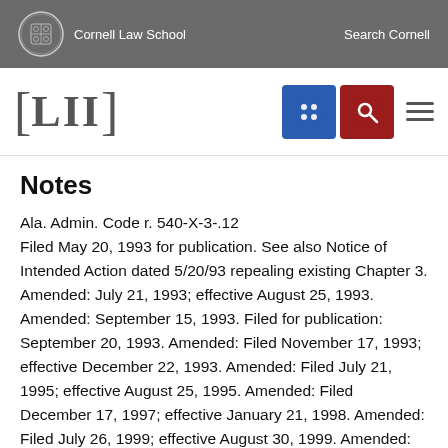Cornell Law School   Search Cornell
Notes
Ala. Admin. Code r. 540-X-3-.12
Filed May 20, 1993 for publication. See also Notice of Intended Action dated 5/20/93 repealing existing Chapter 3. Amended: July 21, 1993; effective August 25, 1993. Amended: September 15, 1993. Filed for publication: September 20, 1993. Amended: Filed November 17, 1993; effective December 22, 1993. Amended: Filed July 21, 1995; effective August 25, 1995. Amended: Filed December 17, 1997; effective January 21, 1998. Amended: Filed July 26, 1999; effective August 30, 1999. Amended: Filed March 22, 2002; effective April 26, 2002. Amended: Filed October 17, 2003;